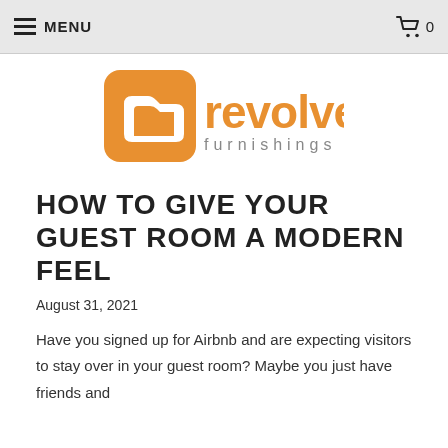MENU  0
[Figure (logo): Revolve Furnishings logo — orange rounded square icon with white 'r' shape and orange text 'revolve' with grey 'furnishings' below]
HOW TO GIVE YOUR GUEST ROOM A MODERN FEEL
August 31, 2021
Have you signed up for Airbnb and are expecting visitors to stay over in your guest room? Maybe you just have friends and